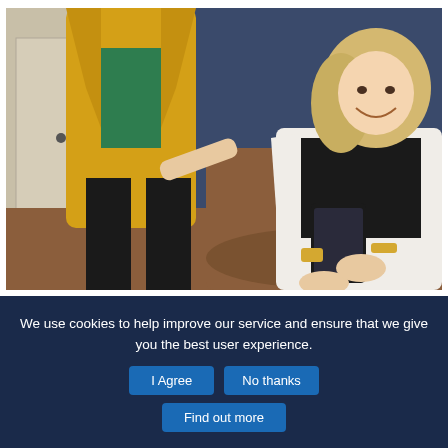[Figure (photo): Two women in an office setting. One woman in a white blazer sits in a brown leather chair looking at a smartphone, smiling. Another woman in a yellow coat and green floral top stands beside her pointing at the phone.]
We use cookies to help improve our service and ensure that we give you the best user experience.
I Agree
No thanks
Find out more